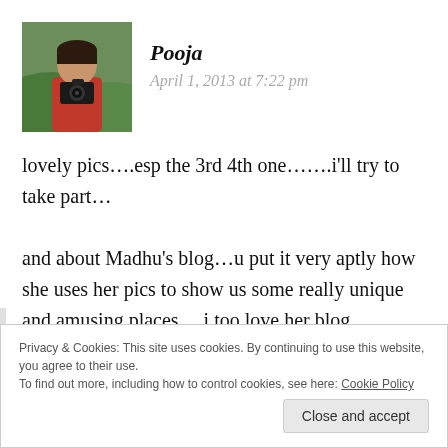[Figure (photo): Avatar photo of a person holding a camera, outdoors with green hills in the background, wearing a red top]
Pooja
April 1, 2013 at 7:22 pm
lovely pics….esp the 3rd 4th one…….i'll try to take part…
and about Madhu's blog…u put it very aptly how she uses her pics to show us some really unique and amusing places….i too love her blog…
Privacy & Cookies: This site uses cookies. By continuing to use this website, you agree to their use.
To find out more, including how to control cookies, see here: Cookie Policy
Close and accept